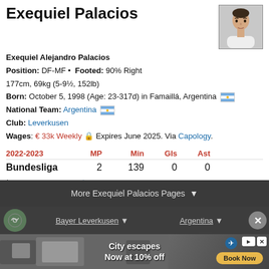Exequiel Palacios
Exequiel Alejandro Palacios
Position: DF-MF • Footed: 90% Right
177cm, 69kg (5-9½, 152lb)
Born: October 5, 1998 (Age: 23-317d) in Famaillá, Argentina
National Team: Argentina
Club: Leverkusen
Wages: € 33k Weekly 🔒 Expires June 2025. Via Capology.
| 2022-2023 | MP | Min | Gls | Ast |
| --- | --- | --- | --- | --- |
| Bundesliga | 2 | 139 | 0 | 0 |
* see our coverage note
More Exequiel Palacios Pages ▼
Bayer Leverkusen ▼    Argentina ▼
[Figure (infographic): Advertisement banner: City escapes Now at 10% off with Book Now button]